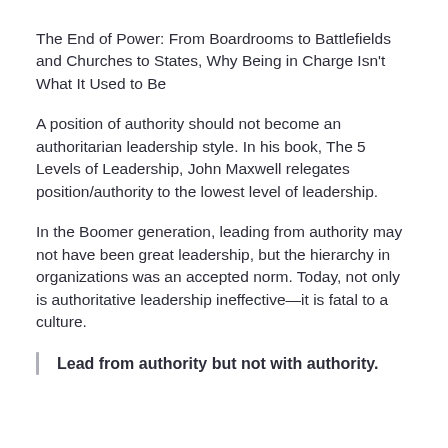The End of Power: From Boardrooms to Battlefields and Churches to States, Why Being in Charge Isn't What It Used to Be
A position of authority should not become an authoritarian leadership style. In his book, The 5 Levels of Leadership, John Maxwell relegates position/authority to the lowest level of leadership.
In the Boomer generation, leading from authority may not have been great leadership, but the hierarchy in organizations was an accepted norm. Today, not only is authoritative leadership ineffective—it is fatal to a culture.
Lead from authority but not with authority.